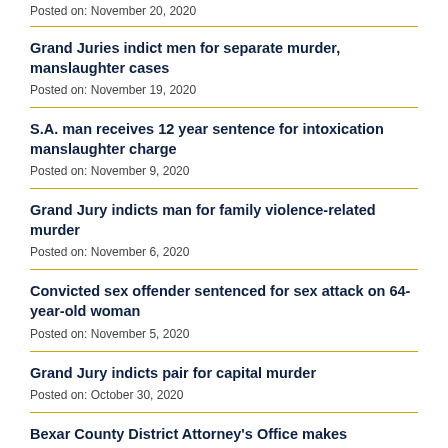Posted on: November 20, 2020
Grand Juries indict men for separate murder, manslaughter cases
Posted on: November 19, 2020
S.A. man receives 12 year sentence for intoxication manslaughter charge
Posted on: November 9, 2020
Grand Jury indicts man for family violence-related murder
Posted on: November 6, 2020
Convicted sex offender sentenced for sex attack on 64-year-old woman
Posted on: November 5, 2020
Grand Jury indicts pair for capital murder
Posted on: October 30, 2020
Bexar County District Attorney's Office makes